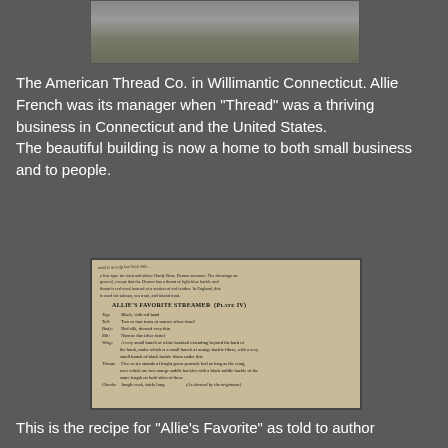[Figure (photo): Photograph of the American Thread Co. building in Willimantic Connecticut, showing a stone building exterior with a road and greenery]
The American Thread Co. in Willimantic Connecticut. Allie French was its manager when "Thread" was a thriving business in Connecticut and the United States. The beautiful building is now a home to both small business and to people.
[Figure (photo): Photo of an open book page showing a recipe/dressing pattern for ALLIE'S FAVORITE STREAMER (Plate IV), with instructions for fly tying including details about hackle, silk, and other materials]
This is the recipe for "Allie's Favorite" as told to author